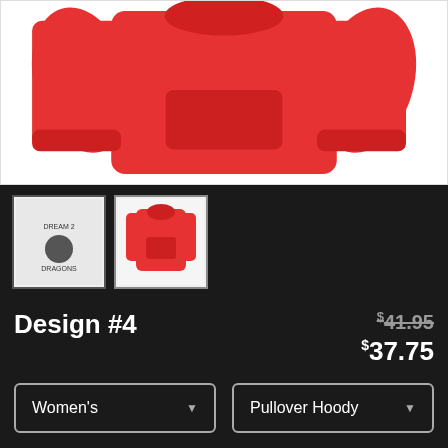[Figure (photo): Red pullover hoodie product photo showing front and sleeve views on white background]
[Figure (photo): Two product thumbnail images: left shows white design with text 'DREAM 2 DRAGONS', right shows red pullover hoodie]
Design #4
$41.95 (original price, strikethrough) $37.75 (sale price)
Women's (dropdown) | Pullover Hoody (dropdown)
SELECT YOUR FIT